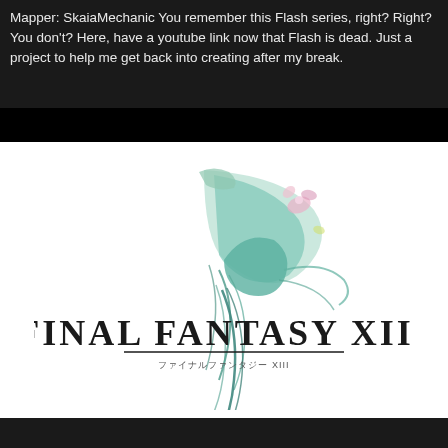Mapper: SkaiaMechanic You remember this Flash series, right? Right? You don't? Here, have a youtube link now that Flash is dead. Just a project to help me get back into creating after my break.
[Figure (logo): Final Fantasy XIII logo on white background with stylized bird/feather illustration in pastel colors above the text 'FINAL FANTASY XIII' in bold serif font with Japanese subtitle text below]